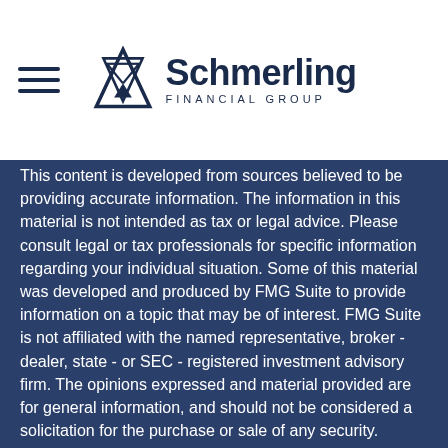[Figure (logo): Schmerling Financial Group logo with hourglass/triangle icon on the left and text on the right]
This content is developed from sources believed to be providing accurate information. The information in this material is not intended as tax or legal advice. Please consult legal or tax professionals for specific information regarding your individual situation. Some of this material was developed and produced by FMG Suite to provide information on a topic that may be of interest. FMG Suite is not affiliated with the named representative, broker - dealer, state - or SEC - registered investment advisory firm. The opinions expressed and material provided are for general information, and should not be considered a solicitation for the purchase or sale of any security.
We take protecting your data and privacy very seriously. As of January 1, 2020 the California Consumer Privacy Act (CCPA) suggests the following link as an extra